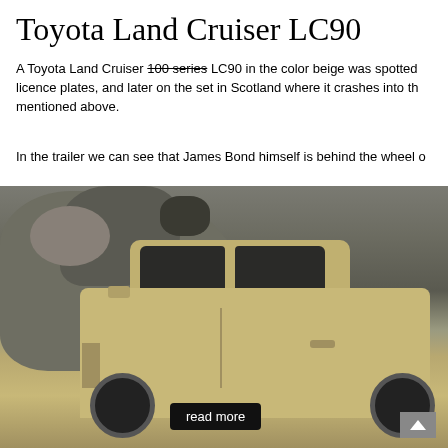Toyota Land Cruiser LC90
A Toyota Land Cruiser 100 series LC90 in the color beige was spotted licence plates, and later on the set in Scotland where it crashes into th mentioned above.
In the trailer we can see that James Bond himself is behind the wheel o
[Figure (photo): A beige Toyota Land Cruiser LC90 SUV photographed in a rocky terrain/hillside setting, with a cookie control popup overlay in the lower portion of the image]
Cookie Control popup: Welcome to Bond Lifestyle. This site uses cookies to ensure you get the best experience on our website. About this tool
read more